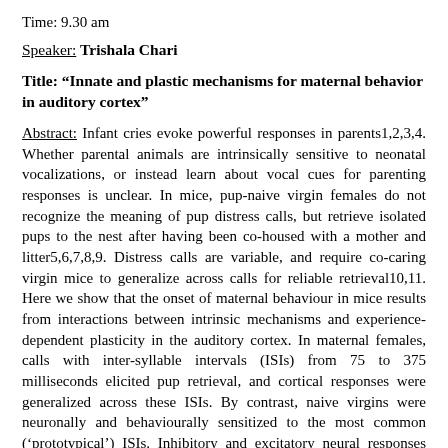Time: 9.30 am
Speaker: Trishala Chari
Title: “Innate and plastic mechanisms for maternal behavior in auditory cortex”
Abstract: Infant cries evoke powerful responses in parents1,2,3,4. Whether parental animals are intrinsically sensitive to neonatal vocalizations, or instead learn about vocal cues for parenting responses is unclear. In mice, pup-naive virgin females do not recognize the meaning of pup distress calls, but retrieve isolated pups to the nest after having been co-housed with a mother and litter5,6,7,8,9. Distress calls are variable, and require co-caring virgin mice to generalize across calls for reliable retrieval10,11. Here we show that the onset of maternal behaviour in mice results from interactions between intrinsic mechanisms and experience-dependent plasticity in the auditory cortex. In maternal females, calls with inter-syllable intervals (ISIs) from 75 to 375 milliseconds elicited pup retrieval, and cortical responses were generalized across these ISIs. By contrast, naive virgins were neuronally and behaviourally sensitized to the most common (‘prototypical’) ISIs. Inhibitory and excitatory neural responses were initially mismatched in the cortex of naive mice, with untuned inhibition and overly narrow excitation. During co-